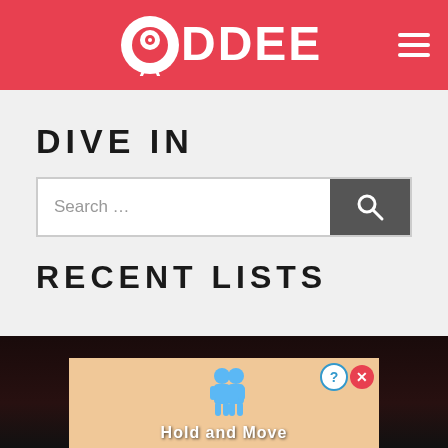ODDEE
DIVE IN
Search ...
RECENT LISTS
[Figure (screenshot): Bottom portion of page showing a dark background image with an advertisement overlay featuring two blue cartoon figures and text 'Hold and Move'. The ad has a question mark button and a red X close button in the top right.]